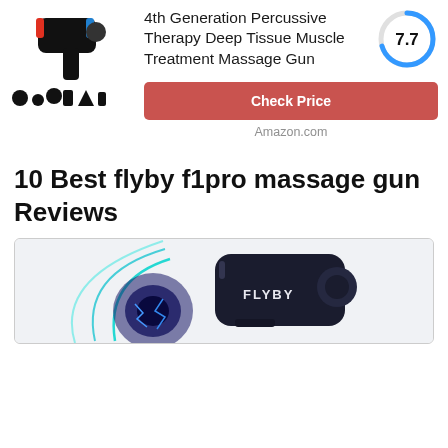[Figure (photo): Product image of a massage gun with multiple attachments shown below it]
4th Generation Percussive Therapy Deep Tissue Muscle Treatment Massage Gun
[Figure (other): Score circle gauge showing 7.7]
Check Price
Amazon.com
10 Best flyby f1pro massage gun Reviews
[Figure (photo): Photo of Flyby massage gun with teal arc accent and FLYBY branding visible]